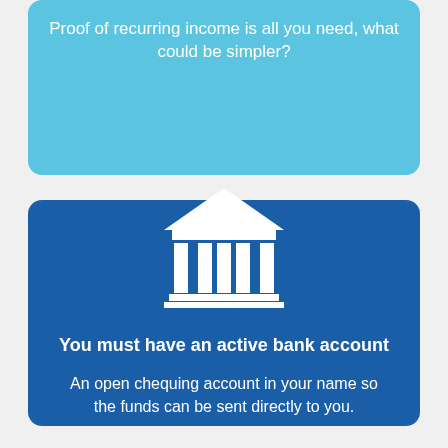Proof of recurring income is all you need, what could be simpler?
[Figure (illustration): White bank/institution building icon with columns and triangular roof on dark blue background]
You must have an active bank account
An open chequing account in your name so the funds can be sent directly to you.